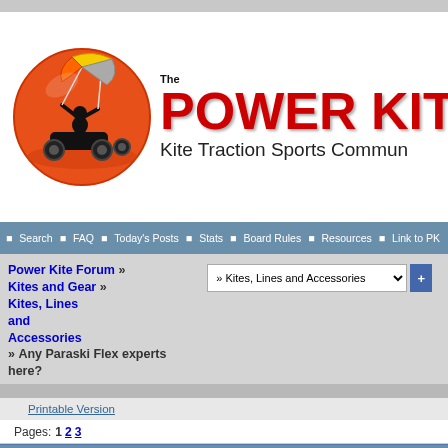[Figure (logo): Power Kite Forum logo with circular orange background showing buggy kite rider silhouette]
The POWER KITE FO[RUM] - Kite Traction Sports Commu[nity]
Search | FAQ | Today's Posts | Stats | Board Rules | Resources | Link to PK[F]
Power Kite Forum » Kites and Gear » Kites, Lines and Accessories » Any Paraski Flex experts here?
» Kites, Lines and Accessories [dropdown]
Printable Version
Pages: 1  2  3
| Author: | Subject: Any Paraski Flex experts here? |
| --- | --- |
| Randy | posted on 11-11-2018 at 09:00 PM |